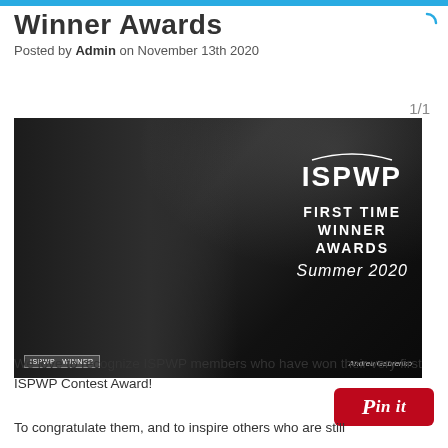Winner Awards
Posted by Admin on November 13th 2020
1/1
[Figure (photo): ISPWP First Time Winner Awards Summer 2020 promotional image showing a man in a tuxedo with bow tie holding a cigar, with dramatic smoke, dark background. Text overlay reads ISPWP FIRST TIME WINNER AWARDS Summer 2020. Badge bottom-left reads ISPWP WINNER, credit bottom-right reads Andreu Gabrenko.]
[Figure (logo): Pinterest Pin it button (red rounded rectangle with white italic Pinit text)]
We love to recognize ISPWP members who have won their very first ISPWP Contest Award!
To congratulate them, and to inspire others who are still